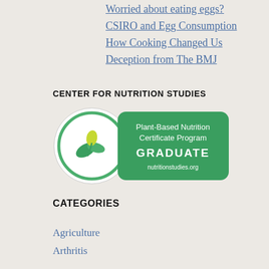Worried about eating eggs?
CSIRO and Egg Consumption
How Cooking Changed Us
Deception from The BMJ
CENTER FOR NUTRITION STUDIES
[Figure (logo): Plant-Based Nutrition Certificate Program GRADUATE badge from nutritionstudies.org — circular logo with green leaves on left, green rounded rectangle on right with white text]
CATEGORIES
Agriculture
Arthritis